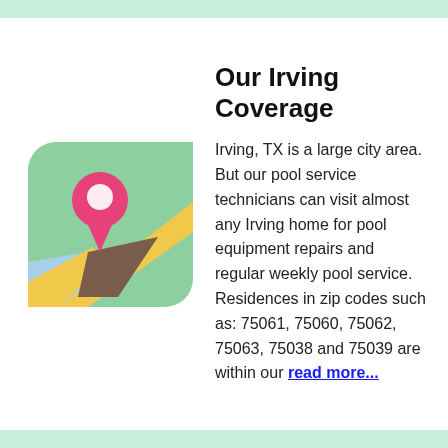[Figure (illustration): A map pin / location marker icon on a stylized map background with green, yellow, blue, and brown areas, and a pink location pin with white circle, rounded square shape.]
Our Irving Coverage
Irving, TX is a large city area. But our pool service technicians can visit almost any Irving home for pool equipment repairs and regular weekly pool service. Residences in zip codes such as: 75061, 75060, 75062, 75063, 75038 and 75039 are within our read more...